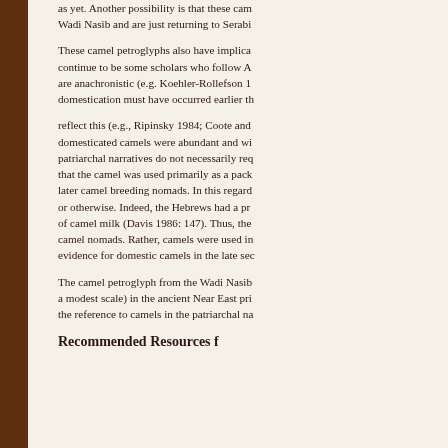as yet. Another possibility is that these camels were at Wadi Nasib and are just returning to Serabi
These camel petroglyphs also have implications for the continuing debate. There continue to be some scholars who follow A who argue that the biblical references are anachronistic (e.g. Koehler-Rollefson 1993), but others argue that camel domestication must have occurred earlier th
reflect this (e.g., Ripinsky 1984; Coote and Whitelam 1987: 88). Even if domesticated camels were abundant and widely used in the 2nd millennium, the patriarchal narratives do not necessarily require camel nomads. The evidence suggests that the camel was used primarily as a pack animal, not as a riding animal by later camel breeding nomads. In this regard, the use of camel milk is irrelevant, or otherwise. Indeed, the Hebrews had a prohibition against consuming the milk of camel milk (Davis 1986: 147). Thus, the patriarchal narratives do not require camel nomads. Rather, camels were used in a different way. There is growing evidence for domestic camels in the late sec
The camel petroglyph from the Wadi Nasib shows that camels were used (on a modest scale) in the ancient Near East pri the reference to camels in the patriarchal na
Recommended Resources f